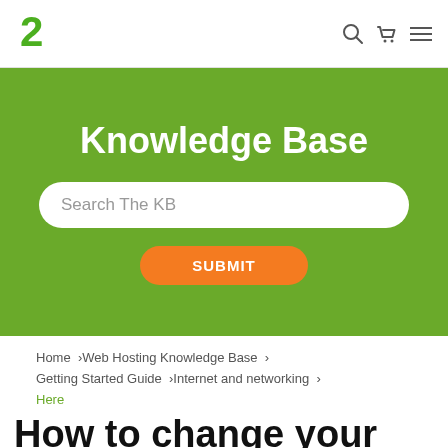a2 logo | search | cart | menu
Knowledge Base
Search The KB
SUBMIT
Home  >Web Hosting Knowledge Base  >  Getting Started Guide  >Internet and networking  >  Here
How to change your